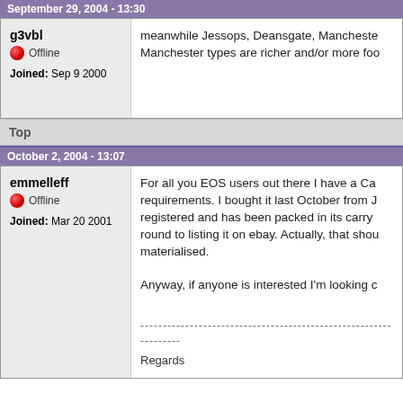September 29, 2004 - 13:30
g3vbl
Offline
Joined: Sep 9 2000
meanwhile Jessops, Deansgate, Manchester types are richer and/or more foo
Top
October 2, 2004 - 13:07
emmelleff
Offline
Joined: Mar 20 2001
For all you EOS users out there I have a Ca requirements. I bought it last October from J registered and has been packed in its carry round to listing it on ebay. Actually, that shou materialised.

Anyway, if anyone is interested I'm looking c

---...

Regards